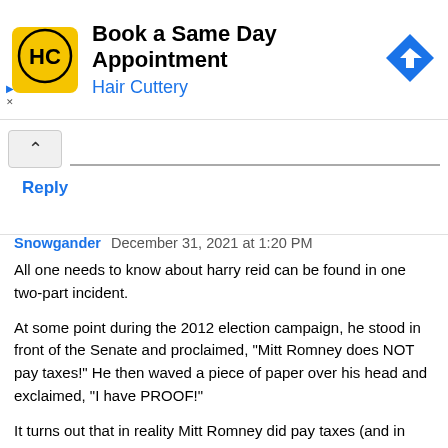[Figure (other): Advertisement banner for Hair Cuttery: 'Book a Same Day Appointment' with yellow logo showing HC initials and a blue diamond arrow icon.]
Reply
Snowgander  December 31, 2021 at 1:20 PM
All one needs to know about harry reid can be found in one two-part incident.
At some point during the 2012 election campaign, he stood in front of the Senate and proclaimed, "Mitt Romney does NOT pay taxes!" He then waved a piece of paper over his head and exclaimed, "I have PROOF!"
It turns out that in reality Mitt Romney did pay taxes (and in compliance with the law), and that the piece of paper harry reid was waving around was blank.